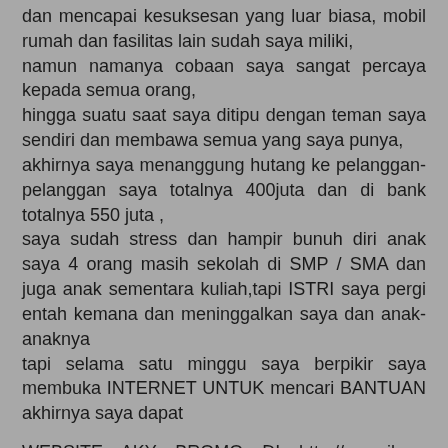dan mencapai kesuksesan yang luar biasa, mobil rumah dan fasilitas lain sudah saya miliki, namun namanya cobaan saya sangat percaya kepada semua orang, hingga suatu saat saya ditipu dengan teman saya sendiri dan membawa semua yang saya punya, akhirnya saya menanggung hutang ke pelanggan-pelanggan saya totalnya 400juta dan di bank totalnya 550 juta , saya sudah stress dan hampir bunuh diri anak saya 4 orang masih sekolah di SMP / SMA dan juga anak sementara kuliah,tapi ISTRI saya pergi entah kemana dan meninggalkan saya dan anak-anaknya tapi selama satu minggu saya berpikir saya membuka INTERNET UNTUK mencari BANTUAN akhirnya saya dapat
WEBSITE AKY BROMO DI http://www.ilmu-pesugihan.com/
dan melihat langsung hasilnya. `